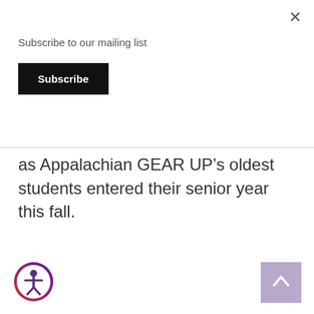Subscribe to our mailing list
Subscribe
as Appalachian GEAR UP's oldest students entered their senior year this fall.
[Figure (illustration): Accessibility icon — circular icon with person figure, purple/dark red gradient border]
[Figure (other): Back to top button — lavender/mauve square with upward chevron arrow]